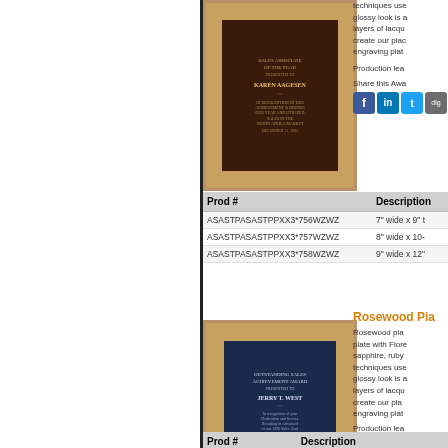[Figure (photo): Rosewood piano-finish plaque with dark engraving plate and gold border, showing Sales Associate of the Year award for Karen Aagesen]
techniques used. The glossy look is achieved with layers of lacquer coats to create our plaques. The engraving plate is...
Production lea...
Share this Awa...
| Prod # | Description |
| --- | --- |
| ASASTPASASTPPXX3*756WZWZ | 7" wide x 9" t |
| ASASTPASASTPPXX3*757WZWZ | 8" wide x 10- |
| ASASTPASASTPPXX3*758WZWZ | 9" wide x 12" |
[Figure (photo): Rosewood piano-finish plaque with Florence blue engraving plate and gold border, showing Outstanding Sales Achievement Award for Jerry T. West with Jevic logo]
Rosewood pia... plate with Flore... sapphire, ruby... techniques use... glossy look is a... layers of lacqu... create our pla... engraving plat...
Production lea...
Share this Awa...
| Prod # | Description |
| --- | --- |